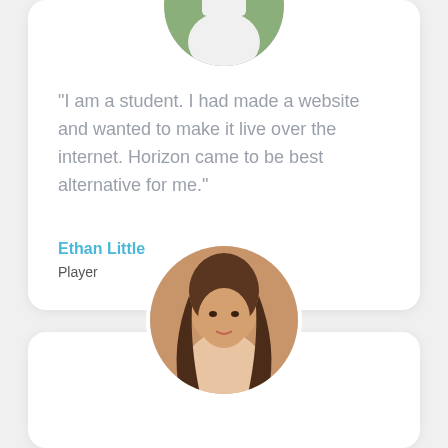[Figure (photo): Circular cropped photo of a man in a white shirt outdoors with green foliage background]
"I am a student. I had made a website and wanted to make it live over the internet. Horizon came to be best alternative for me."
Ethan Little
Player
[Figure (photo): Circular cropped photo of a woman with long brown hair outdoors with warm golden background]